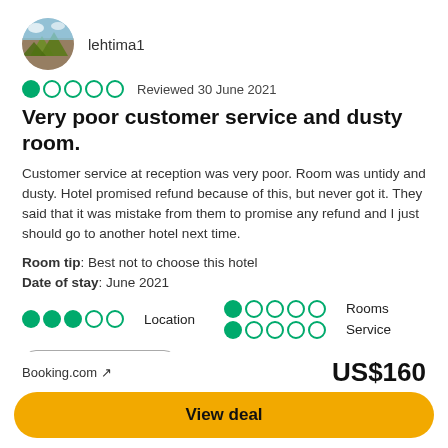[Figure (photo): Circular avatar photo of a mountain/landscape scene]
lehtima1
● ○ ○ ○ ○  Reviewed 30 June 2021
Very poor customer service and dusty room.
Customer service at reception was very poor. Room was untidy and dusty. Hotel promised refund because of this, but never got it. They said that it was mistake from them to promise any refund and I just should go to another hotel next time.
Room tip: Best not to choose this hotel
Date of stay: June 2021
●●●○○ Location
●○○○○ Rooms
●○○○○ Service
👍 1 Thank lehtima1
This review is the subjective opinion of a Tripadvisor member and not of
Booking.com ↗
US$160
View deal